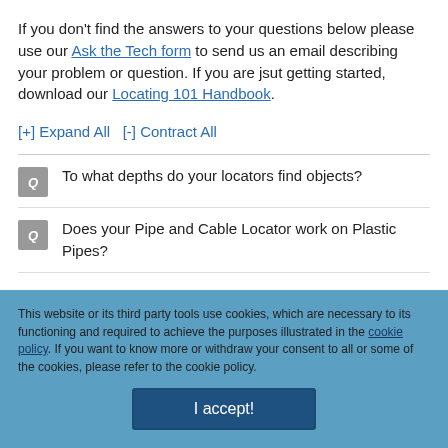If you don't find the answers to your questions below please use our Ask the Tech form to send us an email describing your problem or question. If you are jsut getting started, download our Locating 101 Handbook.
[+] Expand All   [-] Contract All
Q  To what depths do your locators find objects?
Q  Does your Pipe and Cable Locator work on Plastic Pipes?
This website or its third party tools use cookies, which are necessary to its functioning and required to achieve the purposes illustrated in the cookie policy. If you want to know more or withdraw your consent to all or some of the cookies, please refer to the cookie policy.
I accept!